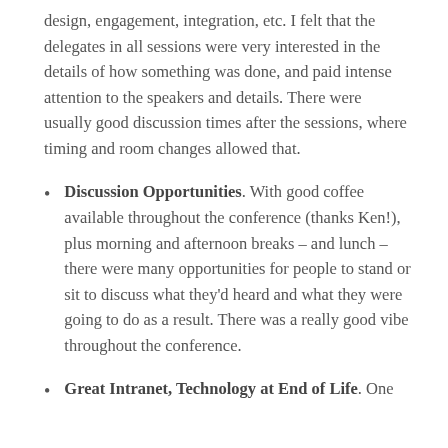design, engagement, integration, etc. I felt that the delegates in all sessions were very interested in the details of how something was done, and paid intense attention to the speakers and details. There were usually good discussion times after the sessions, where timing and room changes allowed that.
Discussion Opportunities. With good coffee available throughout the conference (thanks Ken!), plus morning and afternoon breaks – and lunch – there were many opportunities for people to stand or sit to discuss what they'd heard and what they were going to do as a result. There was a really good vibe throughout the conference.
Great Intranet, Technology at End of Life. One